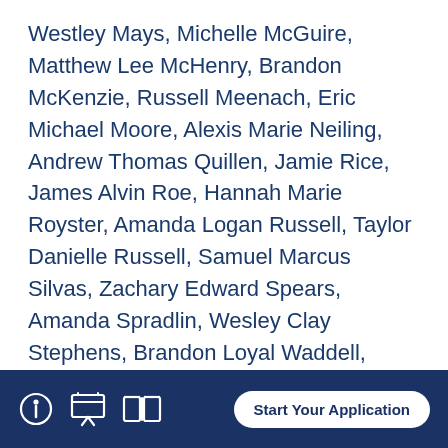Westley Mays, Michelle McGuire, Matthew Lee McHenry, Brandon McKenzie, Russell Meenach, Eric Michael Moore, Alexis Marie Neiling, Andrew Thomas Quillen, Jamie Rice, James Alvin Roe, Hannah Marie Royster, Amanda Logan Russell, Taylor Danielle Russell, Samuel Marcus Silvas, Zachary Edward Spears, Amanda Spradlin, Wesley Clay Stephens, Brandon Loyal Waddell, Kandi M. Whitman, Caitlin Nicole Worthington and Andrew Christian Zabrieszack.
HARLAN: Mariah Lynn Howard.
Start Your Application